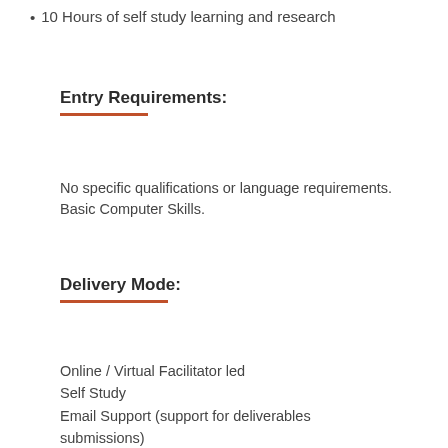10 Hours of self study learning and research
Entry Requirements:
No specific qualifications or language requirements. Basic Computer Skills.
Delivery Mode:
Online / Virtual Facilitator led
Self Study
Email Support (support for deliverables submissions)